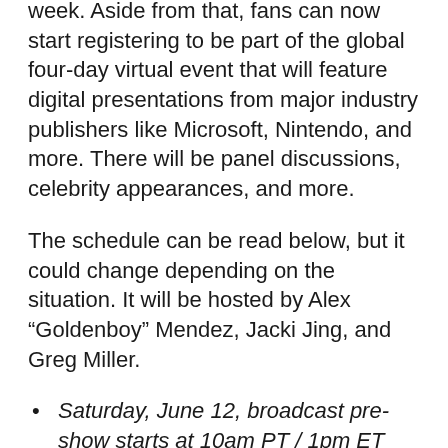week. Aside from that, fans can now start registering to be part of the global four-day virtual event that will feature digital presentations from major industry publishers like Microsoft, Nintendo, and more. There will be panel discussions, celebrity appearances, and more.
The schedule can be read below, but it could change depending on the situation. It will be hosted by Alex “Goldenboy” Mendez, Jacki Jing, and Greg Miller.
Saturday, June 12, broadcast pre-show starts at 10am PT / 1pm ET
E3 2021 will kick off with press